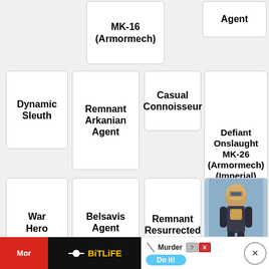MK-16 (Armormech)
Agent
Dynamic Sleuth
Remnant Arkanian Agent
Casual Connoisseur
Defiant Onslaught MK-26 (Armormech) (Imperial)
War Hero Field Tech
Belsavis Agent
Remnant Resurrected Agent
[Figure (illustration): Game character in armor suit standing upright]
Lone-Wolf
More
BitLife
Murder Do it!